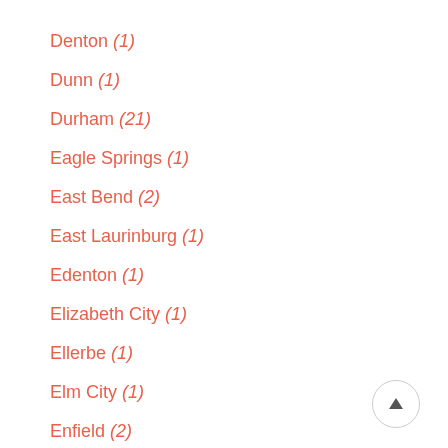Denton (1)
Dunn (1)
Durham (21)
Eagle Springs (1)
East Bend (2)
East Laurinburg (1)
Edenton (1)
Elizabeth City (1)
Ellerbe (1)
Elm City (1)
Enfield (2)